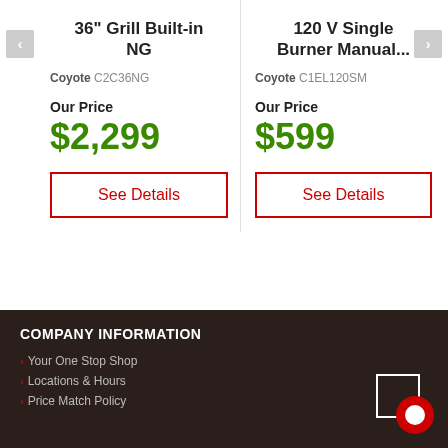36" Grill Built-in NG
Coyote C2C36NG
Our Price
$2,299
See Details
120 V Single Burner Manual...
Coyote C1EL120SM
Our Price
$599
See Details
COMPANY INFORMATION
> Your One Stop Shop
> Locations & Hours
> Price Match Policy